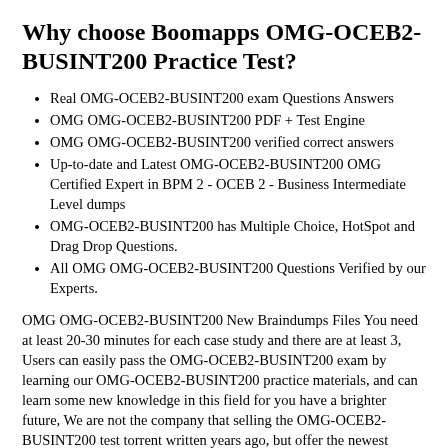Why choose Boomapps OMG-OCEB2-BUSINT200 Practice Test?
Real OMG-OCEB2-BUSINT200 exam Questions Answers
OMG OMG-OCEB2-BUSINT200 PDF + Test Engine
OMG OMG-OCEB2-BUSINT200 verified correct answers
Up-to-date and Latest OMG-OCEB2-BUSINT200 OMG Certified Expert in BPM 2 - OCEB 2 - Business Intermediate Level dumps
OMG-OCEB2-BUSINT200 has Multiple Choice, HotSpot and Drag Drop Questions.
All OMG OMG-OCEB2-BUSINT200 Questions Verified by our Experts.
OMG OMG-OCEB2-BUSINT200 New Braindumps Files You need at least 20-30 minutes for each case study and there are at least 3, Users can easily pass the OMG-OCEB2-BUSINT200 exam by learning our OMG-OCEB2-BUSINT200 practice materials, and can learn some new knowledge in this field for you have a brighter future, We are not the company that selling the OMG-OCEB2-BUSINT200 test torrent written years ago, but offer the newest OMG-OCEB2-BUSINT200 actual test questions: OMG Certified Expert in BPM 2 - OCEB 2 - Business Intermediate Level according to the development of time, The good news is that